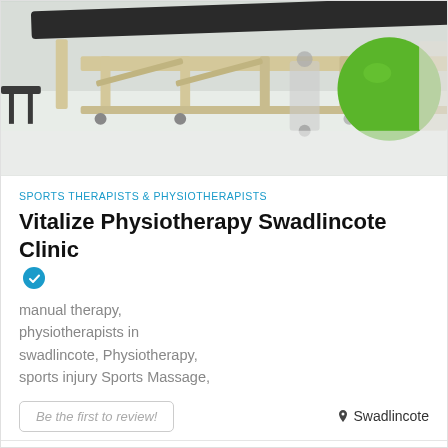[Figure (photo): Physiotherapy clinic interior showing a treatment table/plinth in the foreground and a green exercise ball in the background on a white floor]
SPORTS THERAPISTS & PHYSIOTHERAPISTS
Vitalize Physiotherapy Swadlincote Clinic
manual therapy, physiotherapists in swadlincote, Physiotherapy, sports injury Sports Massage,
Be the first to review!
Swadlincote
Call
Show Map